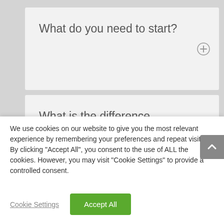What do you need to start?
What is the difference between QR and SR?
What safety precautions
We use cookies on our website to give you the most relevant experience by remembering your preferences and repeat visits. By clicking "Accept All", you consent to the use of ALL the cookies. However, you may visit "Cookie Settings" to provide a controlled consent.
Cookie Settings
Accept All